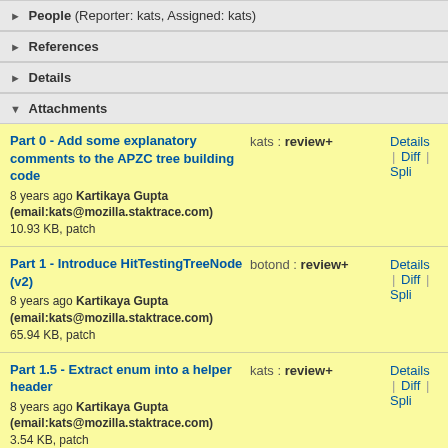People (Reporter: kats, Assigned: kats)
References
Details
Attachments
Part 0 - Add some explanatory comments to the APZC tree building code
8 years ago Kartikaya Gupta (email:kats@mozilla.staktrace.com)
10.93 KB, patch
kats : review+
Details | Diff | Spli
Part 1 - Introduce HitTestingTreeNode (v2)
8 years ago Kartikaya Gupta (email:kats@mozilla.staktrace.com)
65.94 KB, patch
botond : review+
Details | Diff | Spli
Part 1.5 - Extract enum into a helper header
8 years ago Kartikaya Gupta (email:kats@mozilla.staktrace.com)
3.54 KB, patch
kats : review+
Details | Diff | Spli